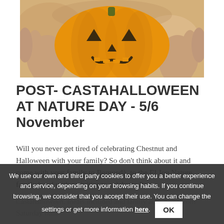[Figure (photo): Person holding a carved Halloween pumpkin (jack-o'-lantern) with triangle eyes and a jagged mouth. WhatsApp green phone icon overlaid in bottom-right corner of photo.]
POST- CASTAHALLOWEEN AT NATURE DAY - 5/6 November
Will you never get tired of celebrating Chestnut and Halloween with your family? So don't think about it and come with your family to Berguedà, to the El Jou Nature family hotel with activities to celebrate Post-Castahalloween.
We use our own and third party cookies to offer you a better experience and service, depending on your browsing habits. If you continue browsing, we consider that you accept their use. You can change the settings or get more information here. OK
meals included and family activities. From Saturday num